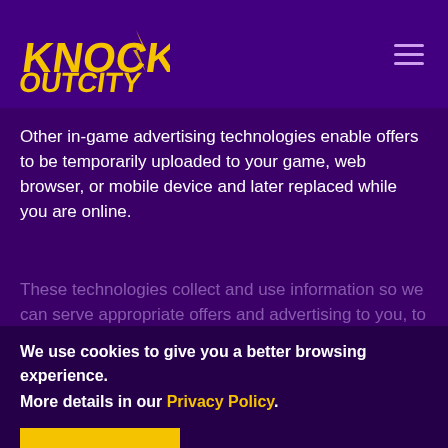[Figure (logo): Knockout City game logo in yellow angular font with lightning/action style]
Other in-game advertising technologies enable offers to be temporarily uploaded to your game, web browser, or mobile device and later replaced while you are online.
These technologies collect and use information so we can serve appropriate offers and advertising to you, to measure effectiveness and distribution of these offers and ads, and to measure user interaction with content with which the ads appear. In addition to identifiers and certain information from your devices, this information may include:
We use cookies to give you a better browsing experience.
More details in our Privacy Policy.
[Figure (other): GOT IT! yellow button with clipped polygon shape]
isements served and the location of the ad;